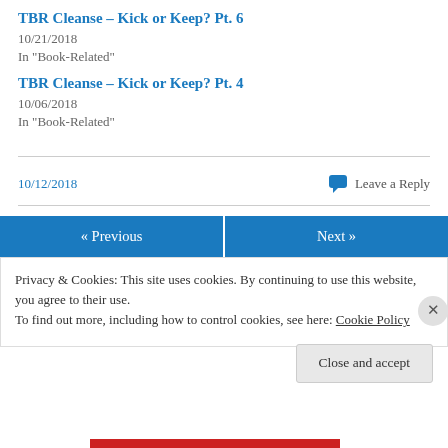TBR Cleanse – Kick or Keep? Pt. 6
10/21/2018
In "Book-Related"
TBR Cleanse – Kick or Keep? Pt. 4
10/06/2018
In "Book-Related"
10/12/2018
Leave a Reply
« Previous
Next »
Privacy & Cookies: This site uses cookies. By continuing to use this website, you agree to their use.
To find out more, including how to control cookies, see here: Cookie Policy
Close and accept